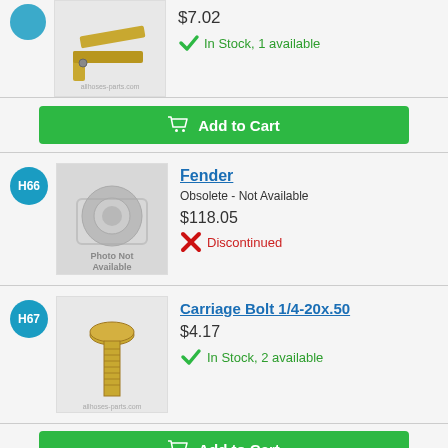[Figure (photo): Small metal bracket/clip part image, product photo]
$7.02
In Stock, 1 available
Add to Cart
H66
[Figure (photo): Photo Not Available placeholder image]
Fender
Obsolete - Not Available
$118.05
Discontinued
H67
[Figure (photo): Carriage bolt product photo]
Carriage Bolt 1/4-20x.50
$4.17
In Stock, 2 available